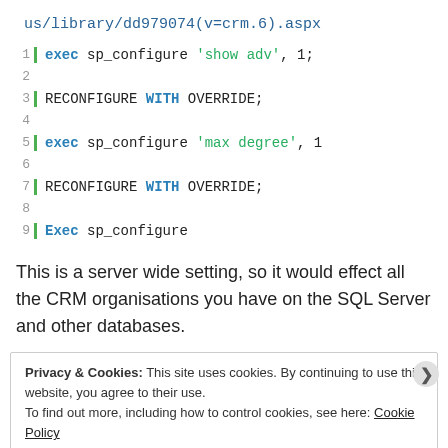us/library/dd979074(v=crm.6).aspx
[Figure (screenshot): Code block with line numbers 1-9 and a green left border. SQL code showing exec sp_configure 'show adv', 1; RECONFIGURE WITH OVERRIDE; exec sp_configure 'max degree', 1 RECONFIGURE WITH OVERRIDE; Exec sp_configure]
This is a server wide setting, so it would effect all the CRM organisations you have on the SQL Server and other databases.
Privacy & Cookies: This site uses cookies. By continuing to use this website, you agree to their use.
To find out more, including how to control cookies, see here: Cookie Policy
Close and accept